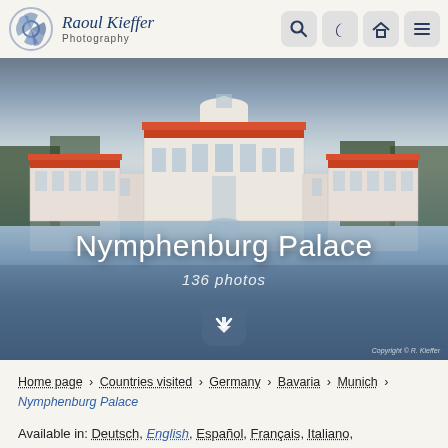Raoul Kieffer Photography — navigation header with logo and icons
[Figure (photo): Hero photo of Nymphenburg Palace reflected in water at dusk, with large overlay text 'Nymphenburg Palace' and '136 photos']
Nymphenburg Palace
136 photos
Home page › Countries visited › Germany › Bavaria › Munich › Nymphenburg Palace
Available in: Deutsch, English, Español, Français, Italiano, Português